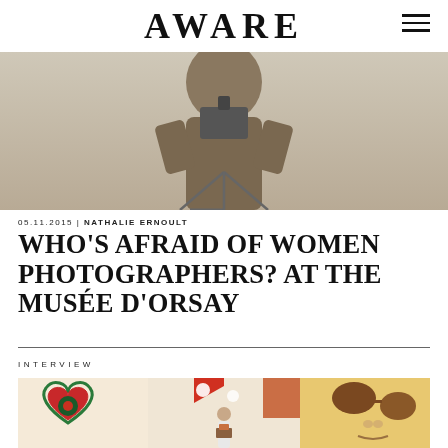AWARE
[Figure (photo): Black and white photograph of a person holding a camera on a tripod, cropped at torso level]
05.11.2015 | NATHALIE ERNOULT
WHO'S AFRAID OF WOMEN PHOTOGRAPHERS? AT THE MUSÉE D'ORSAY
INTERVIEW
[Figure (photo): Color photograph of an exhibition interior at the Musée d'Orsay showing colorful artworks on walls including what appears to be abstract paintings with heart and oval shapes, and a person standing in the gallery]